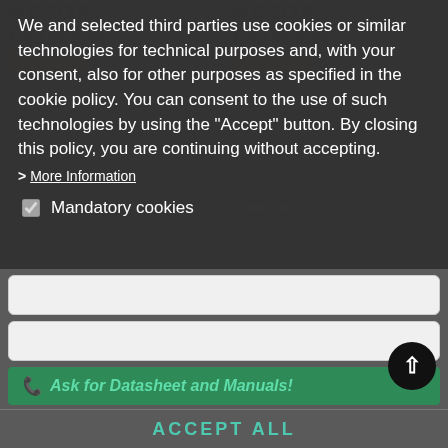[Figure (screenshot): Background product page showing two Motor Power Company servomotors: ESA2L22 and ESA2S22, with prices €363.96 and €325.06 VAT excl.]
We and selected third parties use cookies or similar technologies for technical purposes and, with your consent, also for other purposes as specified in the cookie policy. You can consent to the use of such technologies by using the "Accept" button. By closing this policy, you are continuing without accepting.
More Information
Mandatory cookies
ACCEPT ALL